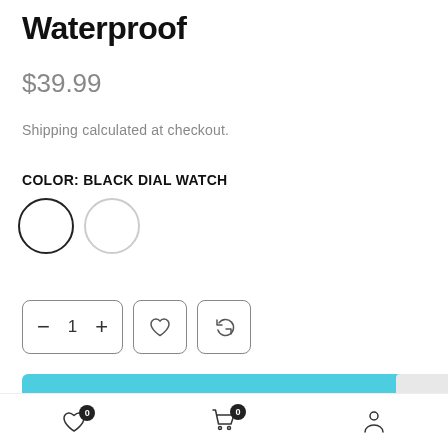Waterproof
$39.99
Shipping calculated at checkout.
COLOR: BLACK DIAL WATCH
[Figure (illustration): Two circular color swatches: one dark-bordered (selected) and one light-bordered]
[Figure (illustration): Quantity selector with minus, 1, plus buttons and two icon buttons (heart and refresh)]
ADD TO CART
GUARANTEED SAFE CHECKOUT
Bottom navigation bar with wishlist (0), cart (0), and account icons